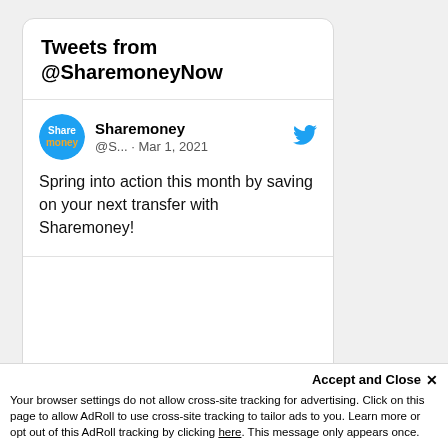Tweets from @SharemoneyNow
Sharemoney @S... · Mar 1, 2021
Spring into action this month by saving on your next transfer with Sharemoney!
Accept and Close ✕
Your browser settings do not allow cross-site tracking for advertising. Click on this page to allow AdRoll to use cross-site tracking to tailor ads to you. Learn more or opt out of this AdRoll tracking by clicking here. This message only appears once.